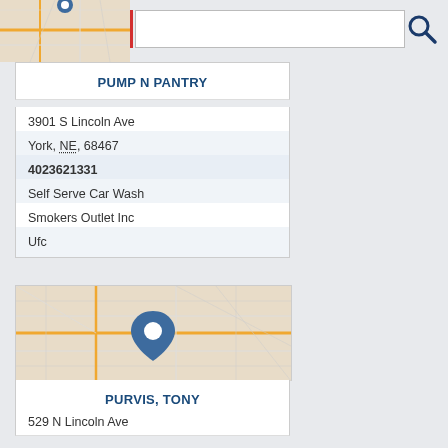[Figure (screenshot): Top search bar with map background on left, white search input box with red cursor, and dark blue search icon on right]
PUMP N PANTRY
3901 S Lincoln Ave
York, NE, 68467
4023621331
Self Serve Car Wash
Smokers Outlet Inc
Ufc
[Figure (map): Street map showing York, NE area with a blue location pin marker in center]
PURVIS, TONY
529 N Lincoln Ave
York, NE, 68467
4023637477
Agriculture Scouts
Insurance Agents